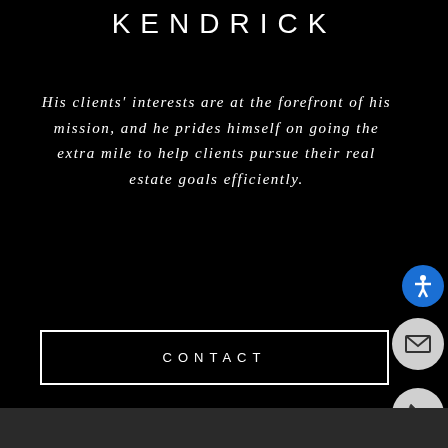KENDRICK
His clients' interests are at the forefront of his mission, and he prides himself on going the extra mile to help clients pursue their real estate goals efficiently.
CONTACT
[Figure (illustration): Email icon in a grey circle]
[Figure (illustration): Accessibility icon in a blue circle]
[Figure (illustration): Phone icon in a grey circle]